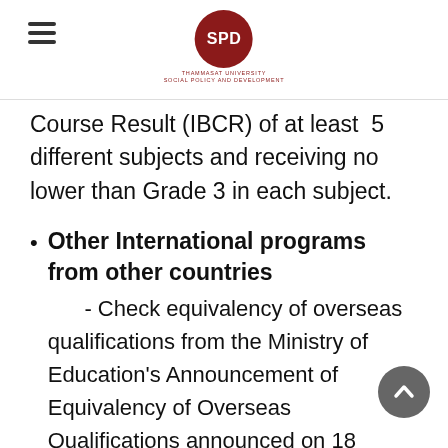SPD — Thammasat University Social Policy and Development
Course Result (IBCR) of at least 5 different subjects and receiving no lower than Grade 3 in each subject.
Other International programs from other countries
- Check equivalency of overseas qualifications from the Ministry of Education's Announcement of Equivalency of Overseas Qualifications announced on 18 January 2545 BE.